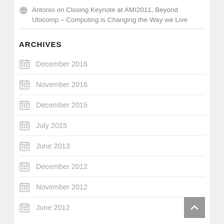Antonio on Closing Keynote at AMI2011, Beyond Ubicomp – Computing is Changing the Way we Live
ARCHIVES
December 2016
November 2016
December 2015
July 2015
June 2013
December 2012
November 2012
June 2012